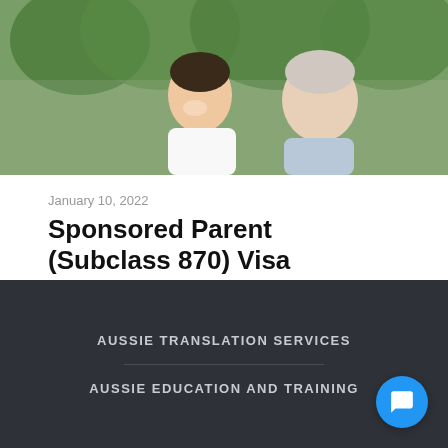[Figure (photo): Two men, one younger and one older with white hair, smiling and talking outdoors with green trees in background]
January 10, 2022
Sponsored Parent (Subclass 870) Visa
Read more
AUSSIE TRANSLATION SERVICES
AUSSIE EDUCATION AND TRAINING